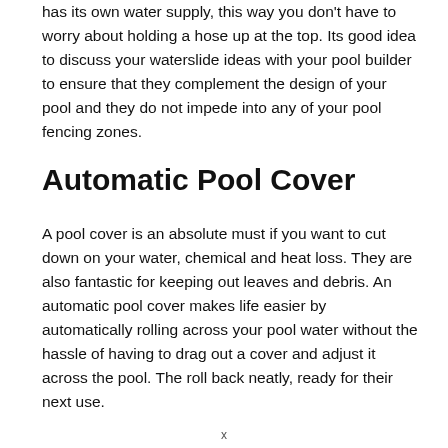has its own water supply, this way you don't have to worry about holding a hose up at the top. Its good idea to discuss your waterslide ideas with your pool builder to ensure that they complement the design of your pool and they do not impede into any of your pool fencing zones.
Automatic Pool Cover
A pool cover is an absolute must if you want to cut down on your water, chemical and heat loss. They are also fantastic for keeping out leaves and debris. An automatic pool cover makes life easier by automatically rolling across your pool water without the hassle of having to drag out a cover and adjust it across the pool. The roll back neatly, ready for their next use.
x